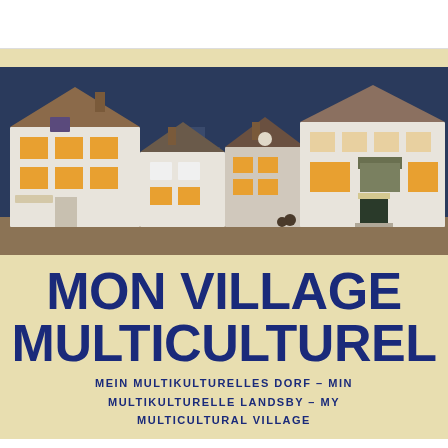[Figure (photo): A photograph of decorative miniature toy village houses illuminated from within, arranged in a row against a dark blue background. The white house models show windows glowing with warm orange/amber light. One house on the left is labeled 'Bäckerei' (bakery). The scene is lit dramatically suggesting evening or night.]
MON VILLAGE MULTICULTUREL
MEIN MULTIKULTURELLES DORF – MIN MULTIKULTURELLE LANDSBY – MY MULTICULTURAL VILLAGE